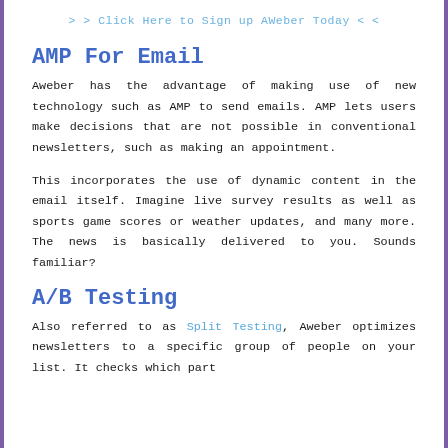> > Click Here to Sign up AWeber Today < <
AMP For Email
Aweber has the advantage of making use of new technology such as AMP to send emails. AMP lets users make decisions that are not possible in conventional newsletters, such as making an appointment.
This incorporates the use of dynamic content in the email itself. Imagine live survey results as well as sports game scores or weather updates, and many more. The news is basically delivered to you. Sounds familiar?
A/B Testing
Also referred to as Split Testing, Aweber optimizes newsletters to a specific group of people on your list. It checks which part